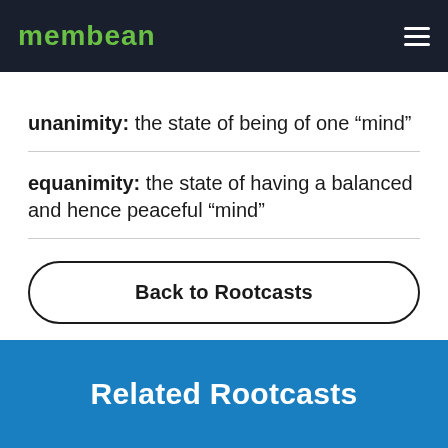membean
unanimity: the state of being of one “mind”
equanimity: the state of having a balanced and hence peaceful “mind”
Back to Rootcasts
Related Rootcasts